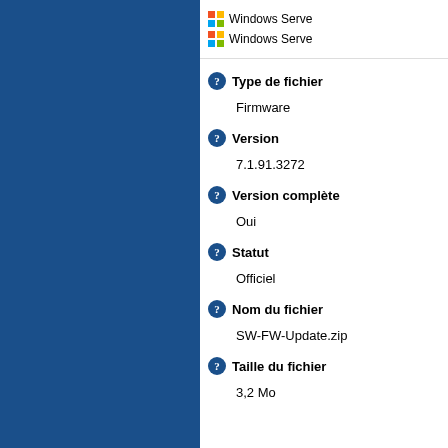Windows Serve
Windows Serve
Type de fichier
Firmware
Version
7.1.91.3272
Version complète
Oui
Statut
Officiel
Nom du fichier
SW-FW-Update.zip
Taille du fichier
3,2 Mo